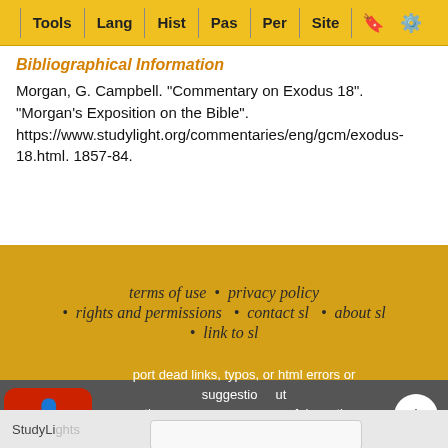Tools | Lang | Hist | Pas | Per | Site
Bibliographical Information
Morgan, G. Campbell. "Commentary on Exodus 18". "Morgan's Exposition on the Bible". https://www.studylight.org/commentaries/eng/gcm/exodus-18.html. 1857-84.
terms of use • privacy policy • rights and permissions • contact sl • about sl • link to sl
To report dead links, typos, or html errors or suggestions about making these resources more useful use the convenient contact form
StudyL... hnology